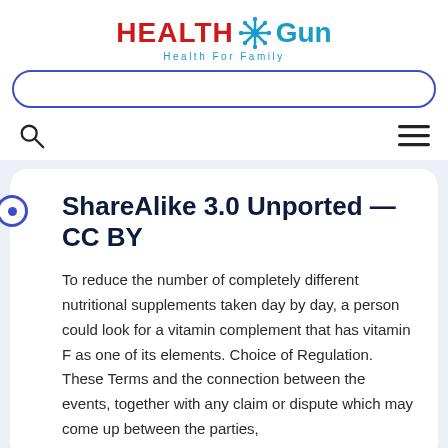HEALTH Gun — Health For Family
ShareAlike 3.0 Unported — CC BY
To reduce the number of completely different nutritional supplements taken day by day, a person could look for a vitamin complement that has vitamin F as one of its elements. Choice of Regulation. These Terms and the connection between the events, together with any claim or dispute which may come up between the parties,